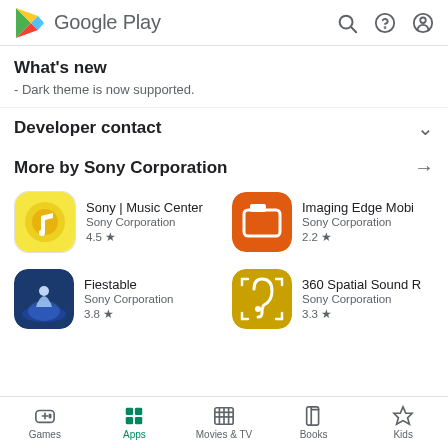Google Play
What's new
- Dark theme is now supported.
Developer contact
More by Sony Corporation
Sony | Music Center
Sony Corporation
4.5 ★
Imaging Edge Mobi
Sony Corporation
2.2 ★
Fiestable
Sony Corporation
3.8 ★
360 Spatial Sound R
Sony Corporation
3.3 ★
Games  Apps  Movies & TV  Books  Kids